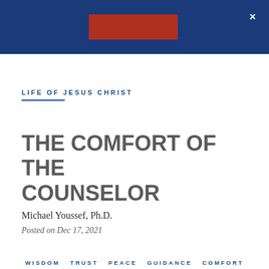[Figure (logo): Dark blue navigation header bar with a red rectangular logo/banner in the center and a white X close button in the top right corner]
LIFE OF JESUS CHRIST
THE COMFORT OF THE COUNSELOR
Michael Youssef, Ph.D.
Posted on Dec 17, 2021
WISDOM   TRUST   PEACE   GUIDANCE   COMFORT